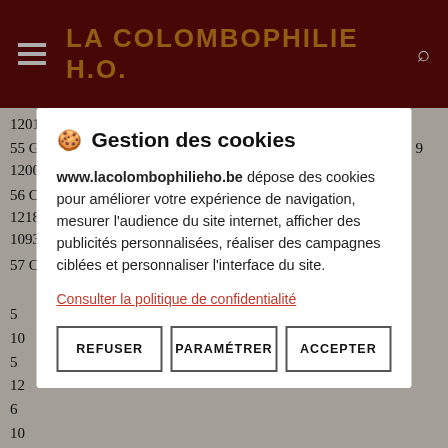LA COLOMBOPHILIE H.O.
120124,7  1094,88
55 GOEMAERE JOSE & GUSTA  HAVINNES 10  9     8 9062235 9 120052.0 1094,72
56 CARREZ GERVAIS        ELLEZELL  8  2      5 9011005 9 121826.0 1093,11
57 CASAERT SENECHAL      RUSSEIGNC 13  8     9 9079331 9
🍪 Gestion des cookies
www.lacolombophilieho.be dépose des cookies pour améliorer votre expérience de navigation, mesurer l'audience du site internet, afficher des publicités personnalisées, réaliser des campagnes ciblées et personnaliser l'interface du site.
Consulter la politique de confidentialité
REFUSER  PARAMÉTRER  ACCEPTER